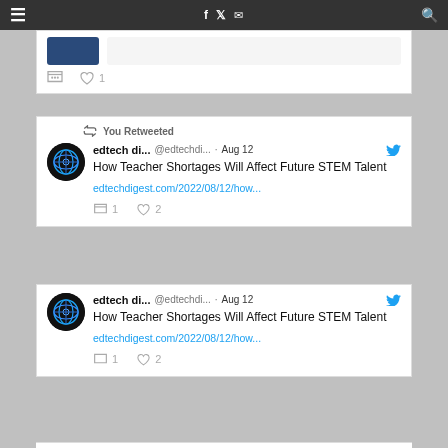Navigation bar with hamburger menu, social icons (Facebook, Twitter, Email), and search
[Figure (screenshot): Partial tweet card showing a thumbnail image and like/comment actions with 1 like]
You Retweeted
edtech di... @edtechdi... · Aug 12
How Teacher Shortages Will Affect Future STEM Talent
edtechdigest.com/2022/08/12/how...
1 comment · 2 likes
edtech di... @edtechdi... · Aug 12
How Teacher Shortages Will Affect Future STEM Talent
edtechdigest.com/2022/08/12/how...
1 comment · 2 likes
[Figure (screenshot): Bottom partial tweet card, partially visible]